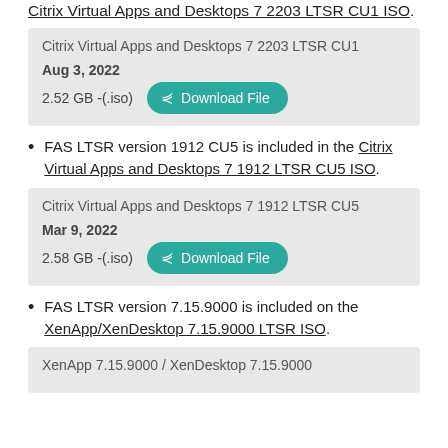Citrix Virtual Apps and Desktops 7 2203 LTSR CU1 ISO.
[Figure (screenshot): Download box for Citrix Virtual Apps and Desktops 7 2203 LTSR CU1, dated Aug 3, 2022, 2.52 GB (.iso), with Download File button]
FAS LTSR version 1912 CU5 is included in the Citrix Virtual Apps and Desktops 7 1912 LTSR CU5 ISO.
[Figure (screenshot): Download box for Citrix Virtual Apps and Desktops 7 1912 LTSR CU5, dated Mar 9, 2022, 2.58 GB (.iso), with Download File button]
FAS LTSR version 7.15.9000 is included on the XenApp/XenDesktop 7.15.9000 LTSR ISO.
[Figure (screenshot): Download box for XenApp 7.15.9000 / XenDesktop 7.15.9000]